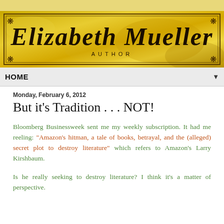[Figure (illustration): Elizabeth Mueller Author banner with gold/yellow marble texture background and decorative script text]
HOME ▼
Monday, February 6, 2012
But it's Tradition . . . NOT!
Bloomberg Businessweek sent me my weekly subscription. It had me reeling: "Amazon's hitman, a tale of books, betrayal, and the (alleged) secret plot to destroy literature" which refers to Amazon's Larry Kirshbaum.
Is he really seeking to destroy literature? I think it's a matter of perspective.